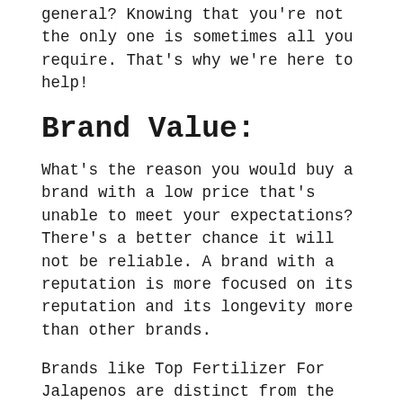general? Knowing that you're not the only one is sometimes all you require. That's why we're here to help!
Brand Value:
What's the reason you would buy a brand with a low price that's unable to meet your expectations? There's a better chance it will not be reliable. A brand with a reputation is more focused on its reputation and its longevity more than other brands.
Brands like Top Fertilizer For Jalapenos are distinct from the competition due to their unique characteristic. Therefore, we are hoping that you'll discover something